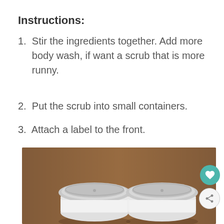Instructions:
1. Stir the ingredients together. Add more body wash, if want a scrub that is more runny.
2. Put the scrub into small containers.
3. Attach a label to the front.
[Figure (photo): Two small round white cosmetic containers with silver lids sitting on a wooden surface, photographed from above at a slight angle.]